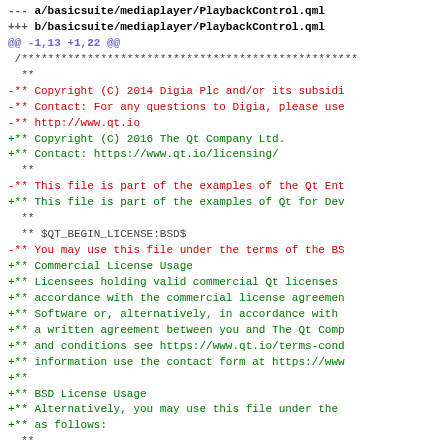--- a/basicsuite/mediaplayer/PlaybackControl.qml
+++ b/basicsuite/mediaplayer/PlaybackControl.qml
@@ -1,13 +1,22 @@
 /***********************************************
  **
 -** Copyright (C) 2014 Digia Plc and/or its subsidi
 -** Contact: For any questions to Digia, please use
 -** http://www.qt.io
 +** Copyright (C) 2016 The Qt Company Ltd.
 +** Contact: https://www.qt.io/licensing/
  **
 -** This file is part of the examples of the Qt Ent
 +** This file is part of the examples of Qt for Dev
  **
  ** $QT_BEGIN_LICENSE:BSD$
 -** You may use this file under the terms of the BS
 +** Commercial License Usage
 +** Licensees holding valid commercial Qt licenses
 +** accordance with the commercial license agreemen
 +** Software or, alternatively, in accordance with
 +** a written agreement between you and The Qt Comp
 +** and conditions see https://www.qt.io/terms-cond
 +** information use the contact form at https://www
 +**
 +** BSD License Usage
 +** Alternatively, you may use this file under the
 +** as follows:
  **
  ** "Redistribution and use in source and binary fo
  ** modification, are permitted provided that the f